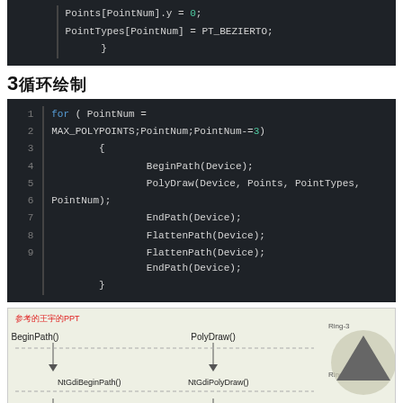[Figure (screenshot): Code snippet showing Points[PointNum].y = 0; PointTypes[PointNum] = PT_BEZIERTO; closing brace]
3 循环绘制
[Figure (screenshot): Code snippet lines 1-9: for loop using MAX_POLYPOINTS, calling BeginPath, PolyDraw, EndPath, FlattenPath, FlattenPath, EndPath]
[Figure (infographic): Diagram showing call flow: BeginPath() -> NtGdiBeginPath() and PolyDraw() -> NtGdiPolyDraw(), with Ring-3 and Ring-0 labels and a triangle icon. Label: 参考的王宇的PPT]